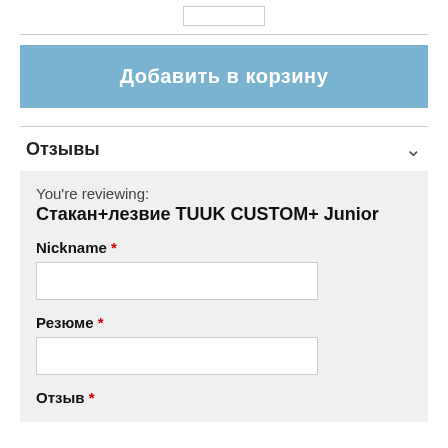Добавить в корзину
Отзывы
You're reviewing:
Стакан+лезвие TUUK CUSTOM+ Junior
Nickname *
Резюме *
Отзыв *